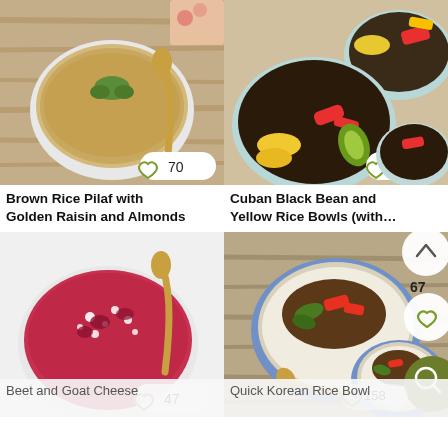[Figure (photo): Bowl of brown rice pilaf with golden raisins and almonds, garnished with herbs, with gold spoon. Like count badge showing heart icon and 70.]
Brown Rice Pilaf with Golden Raisin and Almonds
[Figure (photo): Three light blue bowls with Cuban black bean and yellow rice, colorful vegetables including red peppers and plantains. Like count badge showing heart icon and 81.]
Cuban Black Bean and Yellow Rice Bowls (with…
[Figure (photo): White bowl of beet and goat cheese risotto with gold spoon. Like count badge showing heart icon and 47.]
Beet and Goat Cheese
[Figure (photo): Blue bowl with Quick Korean Rice Bowl, meat and vegetables over rice with gold spoon. Like count badge showing heart icon and 158. Scroll up button and search button visible.]
Quick Korean Rice Bowl